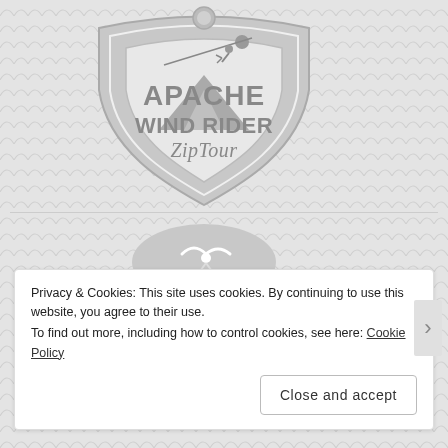[Figure (logo): Apache Wind Rider ZipTour logo — shield shape with figure zip-lining, text 'APACHE WIND RIDER ZipTour', rendered in gray tones on a scalloped gray background]
[Figure (logo): Breezy Point logo — oval with seagull illustration, script text 'BreezyPoint' in gray tones on scalloped background]
Privacy & Cookies: This site uses cookies. By continuing to use this website, you agree to their use.
To find out more, including how to control cookies, see here: Cookie Policy
Close and accept